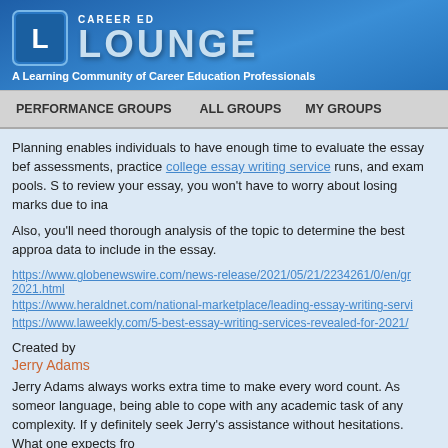CAREER ED LOUNGE — A Learning Community of Career Education Professionals
PERFORMANCE GROUPS | ALL GROUPS | MY GROUPS
Planning enables individuals to have enough time to evaluate the essay before assessments, practice college essay writing service runs, and exam pools. S to review your essay, you won't have to worry about losing marks due to ina
Also, you'll need thorough analysis of the topic to determine the best approa data to include in the essay.
https://www.globenewswire.com/news-release/2021/05/21/2234261/0/en/gr 2021.html
https://www.heraldnet.com/national-marketplace/leading-essay-writing-servi
https://www.laweekly.com/5-best-essay-writing-services-revealed-for-2021/
Created by
Jerry Adams
Jerry Adams always works extra time to make every word count. As someor language, being able to cope with any academic task of any complexity. If y definitely seek Jerry's assistance without hesitations. What one expects fro